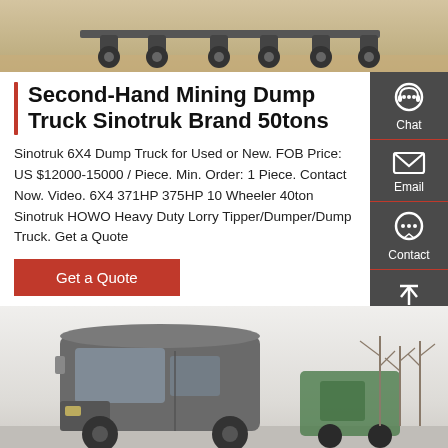[Figure (photo): Top portion of a mining dump truck, showing axles and tires on sandy ground]
Second-Hand Mining Dump Truck Sinotruk Brand 50tons
Sinotruk 6X4 Dump Truck for Used or New. FOB Price: US $12000-15000 / Piece. Min. Order: 1 Piece. Contact Now. Video. 6X4 371HP 375HP 10 Wheeler 40ton Sinotruk HOWO Heavy Duty Lorry Tipper/Dumper/Dump Truck. Get a Quote
Get a Quote
[Figure (screenshot): Side navigation panel with Chat, Email, Contact, and Top buttons on dark gray background]
[Figure (photo): Bottom photo showing Sinotruk HOWO dump truck cab in gray color parked outdoors with bare trees in background]